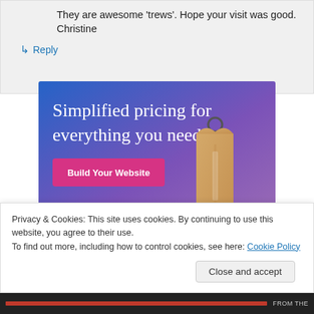They are awesome 'trews'. Hope your visit was good. Christine
↳ Reply
[Figure (advertisement): Advertisement banner with gradient blue-purple background, large white serif text reading 'Simplified pricing for everything you need.', a pink button labeled 'Build Your Website', and a 3D price tag image on the right.]
Privacy & Cookies: This site uses cookies. By continuing to use this website, you agree to their use.
To find out more, including how to control cookies, see here: Cookie Policy
Close and accept